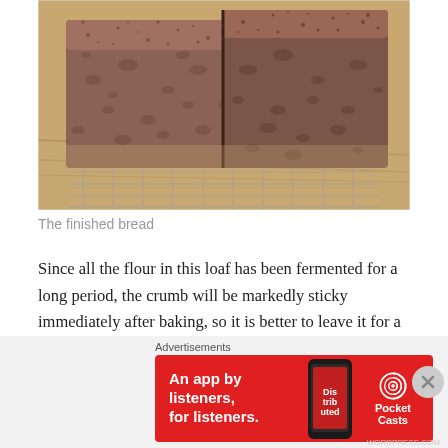[Figure (photo): Two slices of dark brown wholegrain bread resting on a wire cooling rack on a wooden surface, dusted with seeds/flour on top, showing dense crumb texture.]
The finished bread
Since all the flour in this loaf has been fermented for a long period, the crumb will be markedly sticky immediately after baking, so it is better to leave it for a day before cutting it. Its keeping quality, however, is remarkable. Even better, the science suggests that a long rise with lactic acid bacteria from the sourdough culture...
Advertisements
[Figure (infographic): Red advertisement banner for Pocket Casts: 'An app by listeners, for listeners.' with phone image showing 'Distributed' app and Pocket Casts logo.]